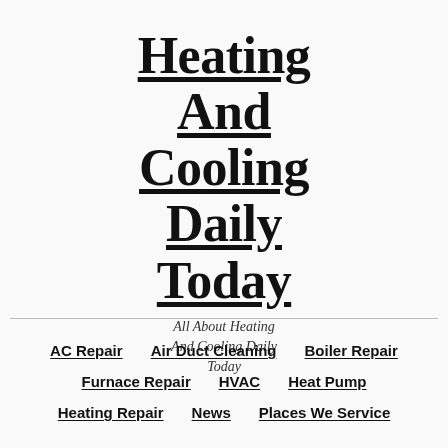Heating And Cooling Daily Today
All About Heating And Cooling Daily Today
AC Repair
Air Duct Cleaning
Boiler Repair
Furnace Repair
HVAC
Heat Pump
Heating Repair
News
Places We Service